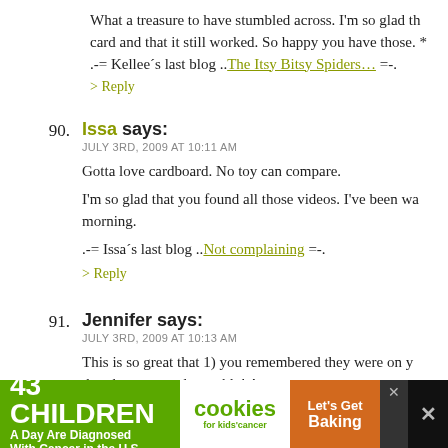What a treasure to have stumbled across. I'm so glad th card and that it still worked. So happy you have those. .-= Kellee's last blog ..The Itsy Bitsy Spiders... =-.
> Reply
90. Issa says: JULY 3RD, 2009 AT 10:11 AM
Gotta love cardboard. No toy can compare.
I'm so glad that you found all those videos. I've been wa morning.
.-= Issa's last blog ..Not complaining =-.
> Reply
91. Jennifer says: JULY 3RD, 2009 AT 10:13 AM
This is so great that 1) you remembered they were on y that they were salvageable! Awesome, awesome, awes
[Figure (screenshot): Advertisement banner: 43 Children A Day Are Diagnosed With Cancer in the U.S. | cookies for kids cancer | Let's Get Baking]